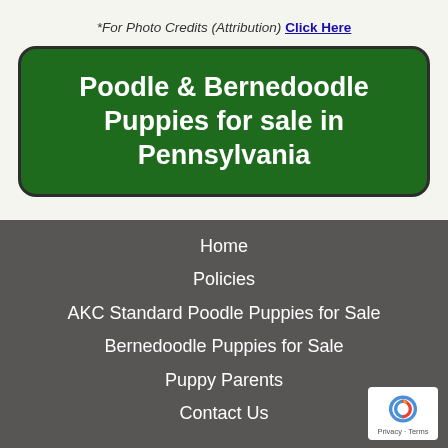*For Photo Credits (Attribution) Click Here
Poodle & Bernedoodle Puppies for sale in Pennsylvania
Home
Policies
AKC Standard Poodle Puppies for Sale
Bernedoodle Puppies for Sale
Puppy Parents
Contact Us